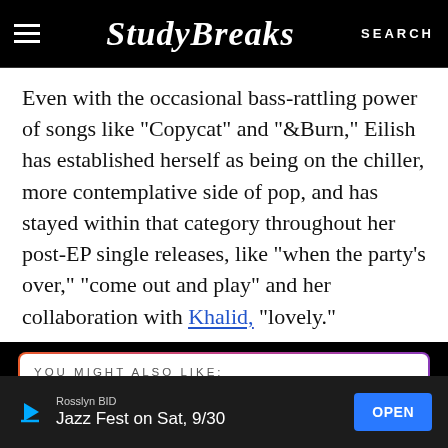Study Breaks — SEARCH
Even with the occasional bass-rattling power of songs like “Copycat” and “&Burn,” Eilish has established herself as being on the chiller, more contemplative side of pop, and has stayed within that category throughout her post-EP single releases, like “when the party’s over,” “come out and play” and her collaboration with Khalid, “lovely.”
YOU MIGHT ALSO LIKE:
I Have Complicated Feelings About ‘Happier Than Ever’
[Figure (screenshot): Advertisement banner: Rosslyn BID — Jazz Fest on Sat, 9/30 — OPEN button]